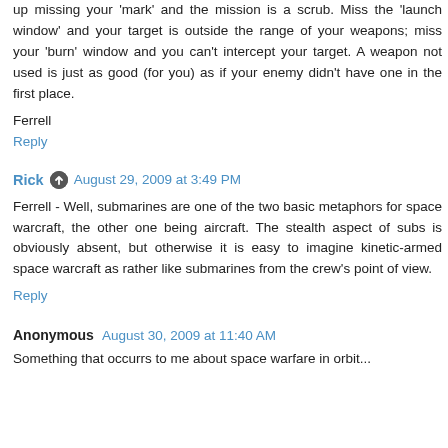up missing your 'mark' and the mission is a scrub. Miss the 'launch window' and your target is outside the range of your weapons; miss your 'burn' window and you can't intercept your target. A weapon not used is just as good (for you) as if your enemy didn't have one in the first place.
Ferrell
Reply
Rick  August 29, 2009 at 3:49 PM
Ferrell - Well, submarines are one of the two basic metaphors for space warcraft, the other one being aircraft. The stealth aspect of subs is obviously absent, but otherwise it is easy to imagine kinetic-armed space warcraft as rather like submarines from the crew's point of view.
Reply
Anonymous  August 30, 2009 at 11:40 AM
Something that occurrs to me about space warfare in orbit...